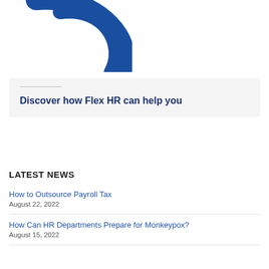[Figure (logo): Flex HR logo — blue stylized arc/wing shape, partial view cropped at top]
Discover how Flex HR can help you
LATEST NEWS
How to Outsource Payroll Tax
August 22, 2022
How Can HR Departments Prepare for Monkeypox?
August 15, 2022